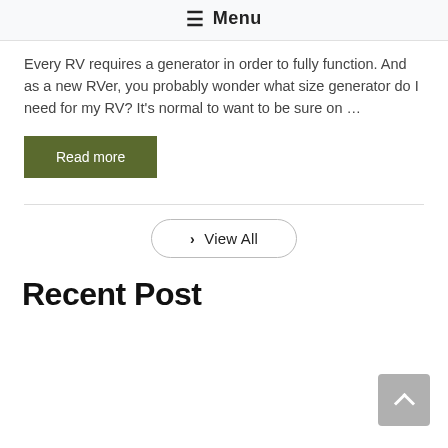≡ Menu
Every RV requires a generator in order to fully function. And as a new RVer, you probably wonder what size generator do I need for my RV? It's normal to want to be sure on …
Read more
› View All
Recent Post